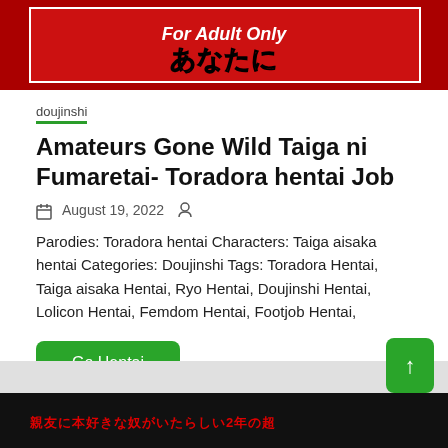[Figure (illustration): Top banner image with red background showing 'For Adult Only' text overlay on manga/doujinshi cover art]
doujinshi
Amateurs Gone Wild Taiga ni Fumaretai- Toradora hentai Job
August 19, 2022
Parodies: Toradora hentai Characters: Taiga aisaka hentai Categories: Doujinshi Tags: Toradora Hentai, Taiga aisaka Hentai, Ryo Hentai, Doujinshi Hentai, Lolicon Hentai, Femdom Hentai, Footjob Hentai,
Go Hentai
[Figure (illustration): Bottom banner showing manga/doujinshi cover art with red Japanese text on dark background]